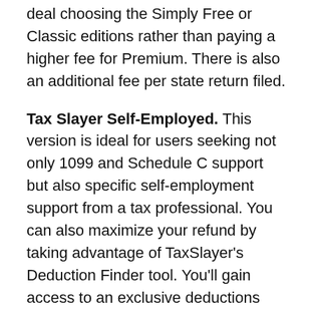deal choosing the Simply Free or Classic editions rather than paying a higher fee for Premium. There is also an additional fee per state return filed.
Tax Slayer Self-Employed. This version is ideal for users seeking not only 1099 and Schedule C support but also specific self-employment support from a tax professional. You can also maximize your refund by taking advantage of TaxSlayer's Deduction Finder tool. You'll gain access to an exclusive deductions and credits guide. There is also an additional fee per state return filed.
Tax Slayer Ultimate. Known as the new kid on the block, this version offers the ultimate package when it comes to defense and protection. For example, you'll gain access to complete IRS audit defense services with direct representation for 3 years. Unlike other